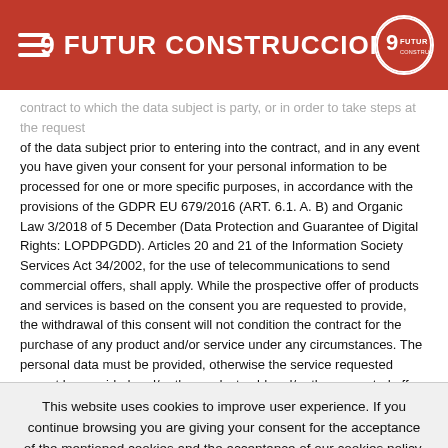9 FUTUR CONSTRUCCIONS
contract to which the data subject is party, or in order to take steps at the request of the data subject prior to entering into the contract, and in any event you have given your consent for your personal information to be processed for one or more specific purposes, in accordance with the provisions of the GDPR EU 679/2016 (ART. 6.1. A. B) and Organic Law 3/2018 of 5 December (Data Protection and Guarantee of Digital Rights: LOPDPGDD). Articles 20 and 21 of the Information Society Services Act 34/2002, for the use of telecommunications to send commercial offers, shall apply. While the prospective offer of products and services is based on the consent you are requested to provide, the withdrawal of this consent will not condition the contract for the purchase of any product and/or service under any circumstances. The personal data must be provided, otherwise the service requested cannot be provided and/or the product sold and/or the requested offer cannot be provided and the sending
This website uses cookies to improve user experience. If you continue browsing you are giving your consent for the acceptance of the mentioned cookies and the acceptance of our cookies policy, click on the link for more information.